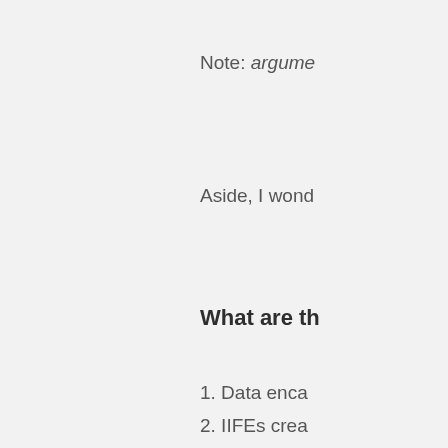Note: argume
Aside, I wond
What are th
1. Data enca
2. IIFEs crea